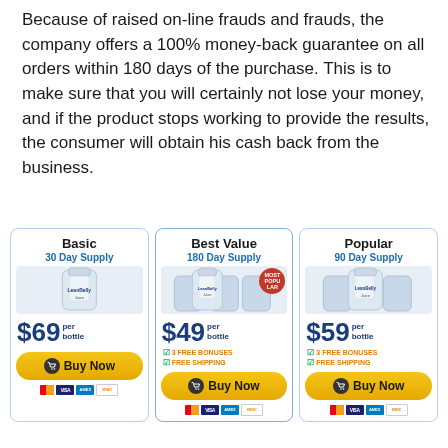Because of raised on-line frauds and frauds, the company offers a 100% money-back guarantee on all orders within 180 days of the purchase. This is to make sure that you will certainly not lose your money, and if the product stops working to provide the results, the consumer will obtain his cash back from the business.
| Basic | Best Value | Popular |
| --- | --- | --- |
| 30 Day Supply | 180 Day Supply | 90 Day Supply |
| $69 per bottle | $49 per bottle | $59 per bottle |
|  | 3 FREE BONUSES
FREE SHIPPING | 3 FREE BONUSES
FREE SHIPPING |
| Buy Now | Buy Now | Buy Now |